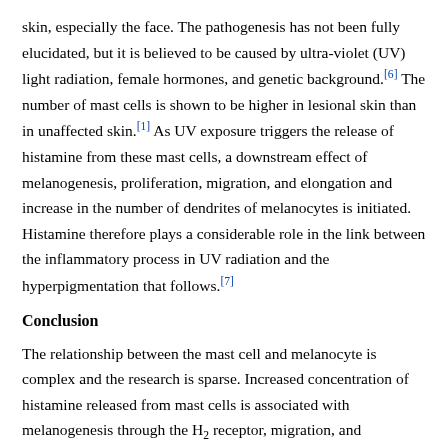skin, especially the face. The pathogenesis has not been fully elucidated, but it is believed to be caused by ultra-violet (UV) light radiation, female hormones, and genetic background.[6] The number of mast cells is shown to be higher in lesional skin than in unaffected skin.[1] As UV exposure triggers the release of histamine from these mast cells, a downstream effect of melanogenesis, proliferation, migration, and elongation and increase in the number of dendrites of melanocytes is initiated. Histamine therefore plays a considerable role in the link between the inflammatory process in UV radiation and the hyperpigmentation that follows.[7]
Conclusion
The relationship between the mast cell and melanocyte is complex and the research is sparse. Increased concentration of histamine released from mast cells is associated with melanogenesis through the H2 receptor, migration, and morphologic changes such as increased dendricity and proliferation of melanocytes. Similar actions are seen after exposure to UV radiation, indicating UV-triggered histamine release may be the main driver of hyperpigmentation. These effects of histamine on the melanocytes as well as the vitiliginous keratinocytes, may provide the basis for the use of histamine in repigmentation in